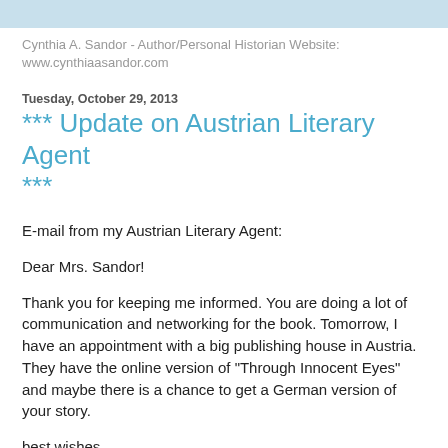Cynthia A. Sandor - Author/Personal Historian Website: www.cynthiaasandor.com
Tuesday, October 29, 2013
*** Update on Austrian Literary Agent ***
E-mail from my Austrian Literary Agent:
Dear Mrs. Sandor!
Thank you for keeping me informed. You are doing a lot of communication and networking for the book. Tomorrow, I have an appointment with a big publishing house in Austria. They have the online version of "Through Innocent Eyes" and maybe there is a chance to get a German version of your story.
best wishes